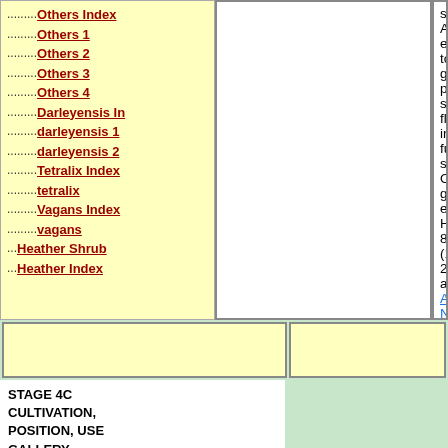Others Index
Others 1
Others 2
Others 3
Others 4
Darleyensis In
darleyensis 1
darleyensis 2
Tetralix Index
tetralix
Vagans Index
vagans
Heather Shrub
Heather Index
stems. An easy to grow plant, su flowers in full sun. Ordinary garde evergreen. Ht.6-8ft. (1.8-2.4m) a Ashwood Nurseries in the UK.
"Kerria japonica 'Picta', Kerria jap Kerria japonica 'Golden Guinea' the UK.
There are 10 cultivars available w
STAGE 4C CULTIVATION, POSITION, USE GALLERY
Cultivation
Requirements of Plant...